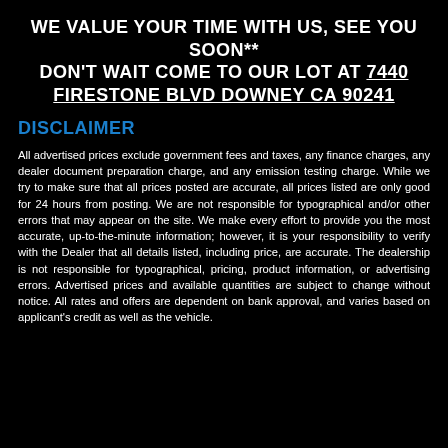WE VALUE YOUR TIME WITH US, SEE YOU SOON** DON'T WAIT COME TO OUR LOT AT 7440 FIRESTONE BLVD DOWNEY CA 90241
DISCLAIMER
All advertised prices exclude government fees and taxes, any finance charges, any dealer document preparation charge, and any emission testing charge. While we try to make sure that all prices posted are accurate, all prices listed are only good for 24 hours from posting. We are not responsible for typographical and/or other errors that may appear on the site. We make every effort to provide you the most accurate, up-to-the-minute information; however, it is your responsibility to verify with the Dealer that all details listed, including price, are accurate. The dealership is not responsible for typographical, pricing, product information, or advertising errors. Advertised prices and available quantities are subject to change without notice. All rates and offers are dependent on bank approval, and varies based on applicant's credit as well as the vehicle.